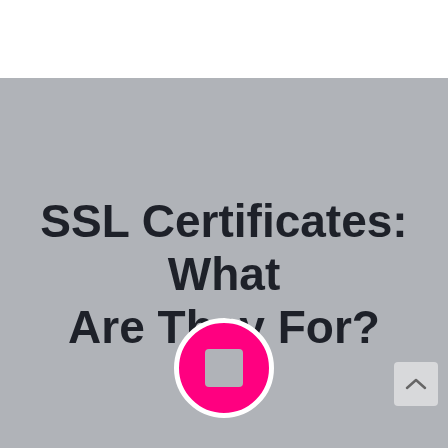SSL Certificates: What Are They For?
[Figure (illustration): A circular icon with a white border and pink/magenta background containing a gray rounded square in the center, resembling a stop or media button icon.]